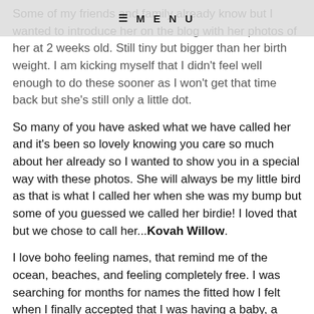≡ MENU
Some of my friends and family already know but I wanted to introduce her on the blog with her photos of her at 2 weeks old. Still tiny but bigger than her birth weight. I am kicking myself that I didn't feel well enough to do these sooner as I won't get that time back but she's still only a little dot.
So many of you have asked what we have called her and it's been so lovely knowing you care so much about her already so I wanted to show you in a special way with these photos. She will always be my little bird as that is what I called her when she was my bump but some of you guessed we called her birdie! I loved that but we chose to call her...Kovah Willow.
I love boho feeling names, that remind me of the ocean, beaches, and feeling completely free. I was searching for months for names the fitted how I felt when I finally accepted that I was having a baby, a name that reflected everything I love most in life as she would soon be one of them. I was mind mapping beach related things like, ocean, sand, tides, coves and came up with Cova as I found this online. Then for the sake of it looking nicer we chose Kovah for spelling. I